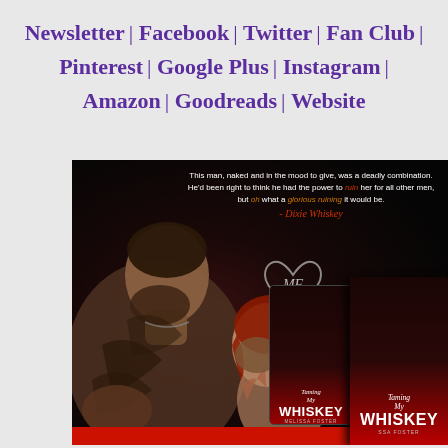Newsletter | Facebook | Twitter | Fan Club | Pinterest | Google Plus | Instagram | Amazon | Goodreads | Website
[Figure (photo): Promotional book image for 'Taming My Whiskey' by Melissa Foster. Dark background showing a tattooed man and a woman in an intimate pose. Overlaid quote: 'This man, naked and in the mood to give, was a deadly combination. He'd been right to think he had the power to ruin her for all other men, but oh what a glorious ruining it would be. - Dixie Whiskey'. Heart logo with MF initials. Book covers shown bottom right: tablet and physical book editions of Taming My Whiskey by Melissa Foster.]